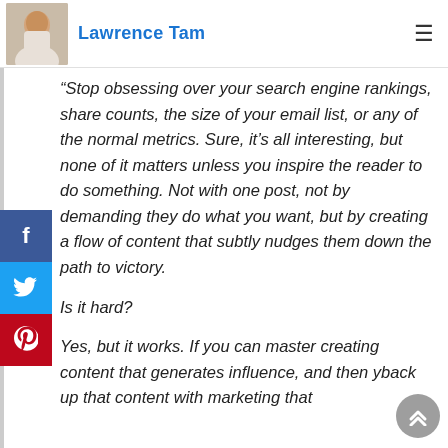Lawrence Tam
“Stop obsessing over your search engine rankings, share counts, the size of your email list, or any of the normal metrics. Sure, it’s all interesting, but none of it matters unless you inspire the reader to do something. Not with one post, not by demanding they do what you want, but by creating a flow of content that subtly nudges them down the path to victory.
Is it hard?
Yes, but it works. If you can master creating content that generates influence, and then you back up that content with marketing that